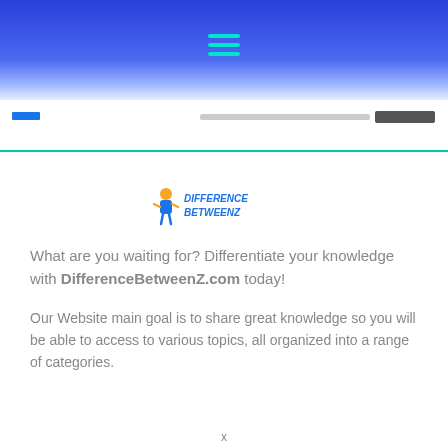[Figure (screenshot): Website header with blue gradient background and hamburger menu icon in teal]
[Figure (logo): DifferenceBetweenZ logo with cartoon character and bold text]
What are you waiting for? Differentiate your knowledge with DifferenceBetweenZ.com today!
Our Website main goal is to share great knowledge so you will be able to access to various topics, all organized into a range of categories.